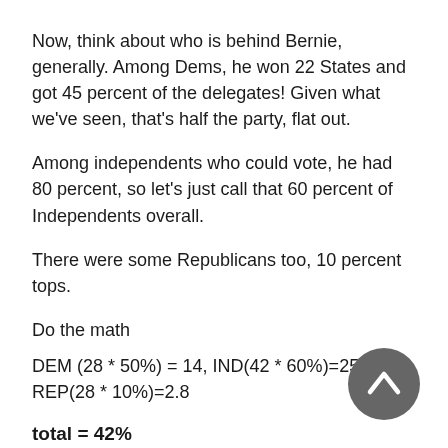Now, think about who is behind Bernie, generally. Among Dems, he won 22 States and got 45 percent of the delegates! Given what we've seen, that's half the party, flat out.
Among independents who could vote, he had 80 percent, so let's just call that 60 percent of Independents overall.
There were some Republicans too, 10 percent tops.
Do the math
DEM (28 * 50%) = 14, IND(42 * 60%)=25.2, REP(28 * 10%)=2.8
total = 42%
[Figure (other): Gray circular back/up navigation button with a caret/chevron pointing upward]